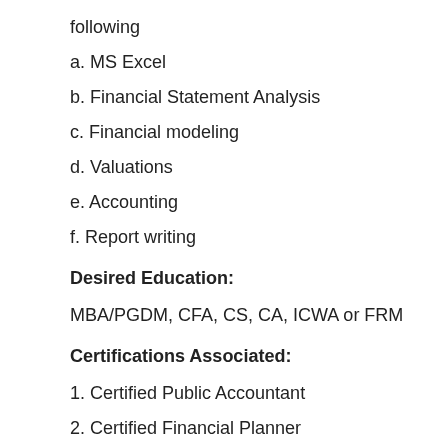following
a. MS Excel
b. Financial Statement Analysis
c. Financial modeling
d. Valuations
e. Accounting
f. Report writing
Desired Education:
MBA/PGDM, CFA, CS, CA, ICWA or FRM
Certifications Associated:
1. Certified Public Accountant
2. Certified Financial Planner
3. Chartered Financial Consultant
4. Chartered Financial Analyst
5. Chartered Investment Counsel